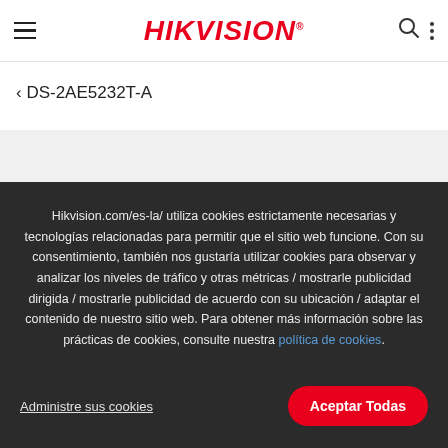≡ HIKVISION® 🔍 ⋮
< DS-2AE5232T-A
Hikvision.com/es-la/ utiliza cookies estrictamente necesarias y tecnologías relacionadas para permitir que el sitio web funcione. Con su consentimiento, también nos gustaría utilizar cookies para observar y analizar los niveles de tráfico y otras métricas / mostrarle publicidad dirigida / mostrarle publicidad de acuerdo con su ubicación / adaptar el contenido de nuestro sitio web. Para obtener más información sobre las prácticas de cookies, consulte nuestra política de cookies.
Administre sus cookies
Aceptar Todas